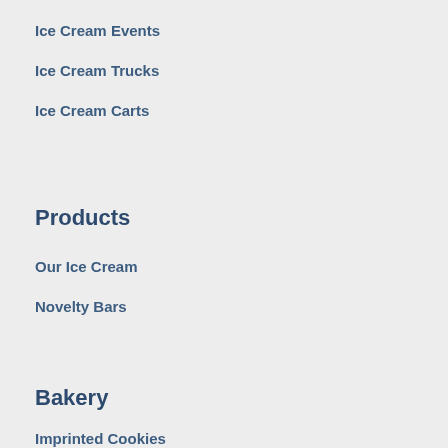Ice Cream Events
Ice Cream Trucks
Ice Cream Carts
Products
Our Ice Cream
Novelty Bars
Bakery
Imprinted Cookies